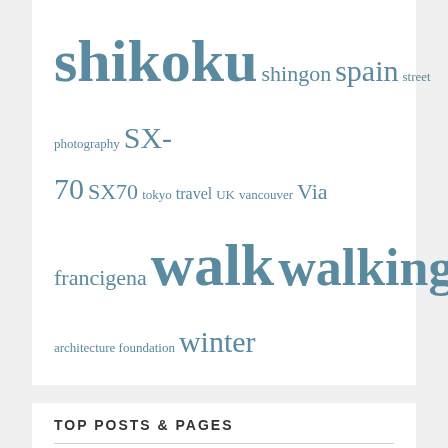shikoku shingon spain street photography SX-70 SX70 tokyo travel UK vancouver Via francigena walk walking winnipeg winnipeg architecture foundation winter
TOP POSTS & PAGES
The Polaroid Folding SX-70 on Steroids: A Review of MiNT Camera's SLR670-S
Camera Tales: The Cirkut Panoramic Camera
Mobile Backup Choices: RavPower FileHub vs. Verbatim MediaShare Wireless
Backup A-Go-Go: Review of the Verbatim